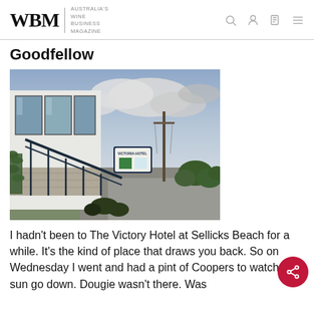WBM | AUSTRALIA'S WINE BUSINESS MAGAZINE
Goodfellow
[Figure (photo): Exterior photo of The Victory Hotel at Sellicks Beach, showing a modern building facade with large glass windows, metal railings, a Victoria Hotel sign in the background, a utility pole, and a cloudy sky.]
I hadn't been to The Victory Hotel at Sellicks Beach for a while. It's the kind of place that draws you back. So on Wednesday I went and had a pint of Coopers to watch the sun go down. Dougie wasn't there. Was